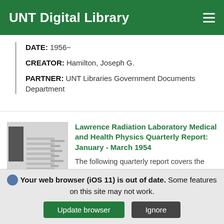UNT Digital Library
DATE: 1956~
CREATOR: Hamilton, Joseph G.
PARTNER: UNT Libraries Government Documents Department
[Figure (photo): Thumbnail of a document page with a dark rectangle on the left side and faint text lines]
Lawrence Radiation Laboratory Medical and Health Physics Quarterly Report: January - March 1954
The following quarterly report covers the period of January…
Your web browser (iOS 11) is out of date. Some features on this site may not work.